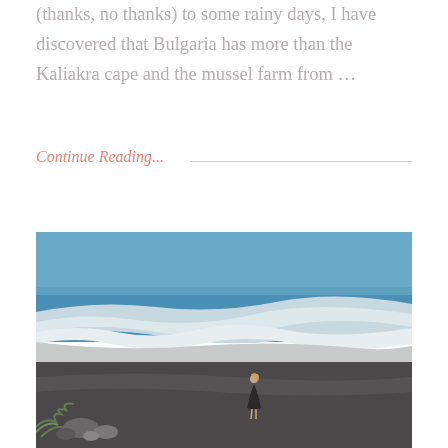(thanks, no thanks) to some rainy days, I have discovered that Bulgaria has more than the Kaliakra cape and the mussel farm from ...
Continue Reading...
[Figure (photo): A woman in a dark dress standing on a dark sandy beach with ocean waves in the background. The beach has dark volcanic-looking sand with some rocks and green vegetation in the foreground.]